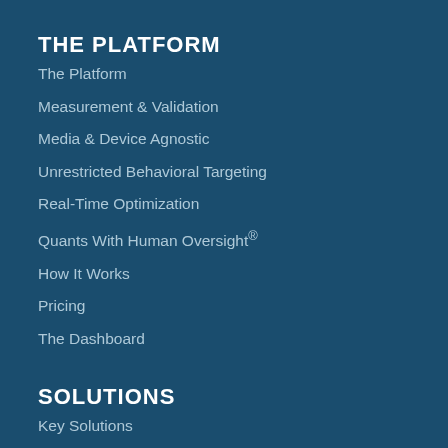THE PLATFORM
The Platform
Measurement & Validation
Media & Device Agnostic
Unrestricted Behavioral Targeting
Real-Time Optimization
Quants With Human Oversight®
How It Works
Pricing
The Dashboard
SOLUTIONS
Key Solutions
Enterprise